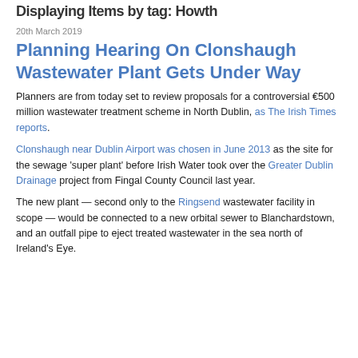Displaying Items by tag: Howth
20th March 2019
Planning Hearing On Clonshaugh Wastewater Plant Gets Under Way
Planners are from today set to review proposals for a controversial €500 million wastewater treatment scheme in North Dublin, as The Irish Times reports.
Clonshaugh near Dublin Airport was chosen in June 2013 as the site for the sewage 'super plant' before Irish Water took over the Greater Dublin Drainage project from Fingal County Council last year.
The new plant — second only to the Ringsend wastewater facility in scope — would be connected to a new orbital sewer to Blanchardstown, and an outfall pipe to eject treated wastewater in the sea north of Ireland's Eye.